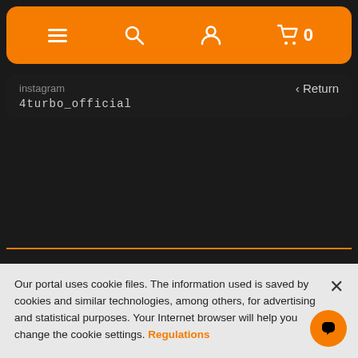[Figure (screenshot): Orange navigation bar with hamburger menu, search, user account, and cart (0) icons]
instagram
4turbo_official
< Return
English
Our portal uses cookie files. The information used is saved by cookies and similar technologies, among others, for advertising and statistical purposes. Your Internet browser will help you change the cookie settings. Regulations